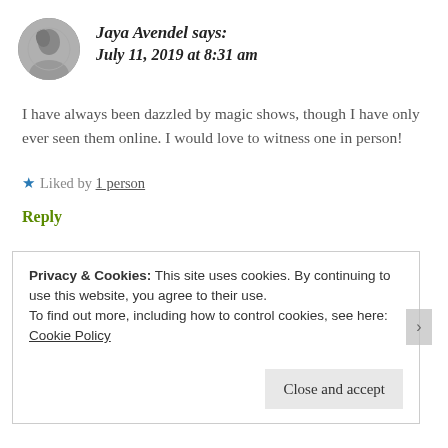Jaya Avendel says: July 11, 2019 at 8:31 am
I have always been dazzled by magic shows, though I have only ever seen them online. I would love to witness one in person!
Liked by 1 person
Reply
Privacy & Cookies: This site uses cookies. By continuing to use this website, you agree to their use.
To find out more, including how to control cookies, see here: Cookie Policy
Close and accept